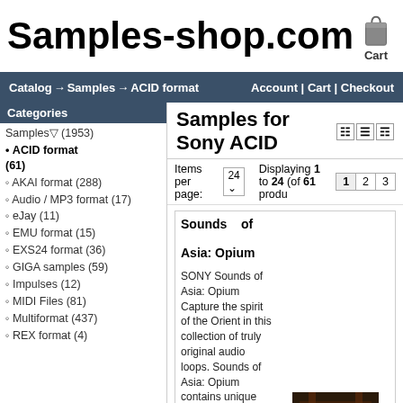Samples-shop.com  Cart
Catalog → Samples → ACID format   Account | Cart | Checkout
Categories
Samples▽ (1953)
• ACID format (61)
◦ AKAI format (288)
◦ Audio / MP3 format (17)
◦ eJay (11)
◦ EMU format (15)
◦ EXS24 format (36)
◦ GIGA samples (59)
◦ Impulses (12)
◦ MIDI Files (81)
◦ Multiformat (437)
◦ REX format (4)
Samples for Sony ACID
Items per page:   Displaying 1 to 24 (of 61 products)
[Figure (photo): Cover art for Sounds of Asia: Opium - dark stylized image with green glow]
Sounds of Asia: Opium
SONY Sounds of Asia: Opium Capture the spirit of the Orient in this collection of truly original audio loops. Sounds of Asia: Opium contains unique tracks that encompass a variety of traditional Asian instruments. Weave mesmerizing musical spells from the Far East, adding instruments like the dizu flute,
$7.50  Add to Cart